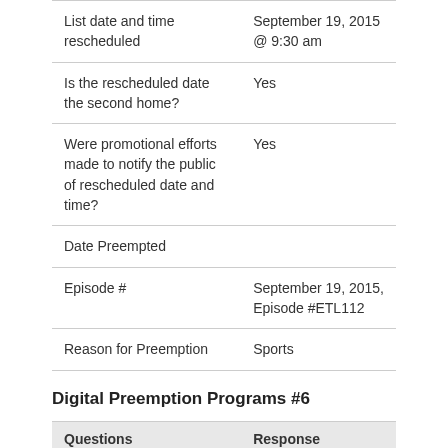| Questions | Response |
| --- | --- |
| List date and time rescheduled | September 19, 2015 @ 9:30 am |
| Is the rescheduled date the second home? | Yes |
| Were promotional efforts made to notify the public of rescheduled date and time? | Yes |
| Date Preempted |  |
| Episode # | September 19, 2015, Episode #ETL112 |
| Reason for Preemption | Sports |
Digital Preemption Programs #6
| Questions | Response |
| --- | --- |
| Title of Program | Earth To Luna |